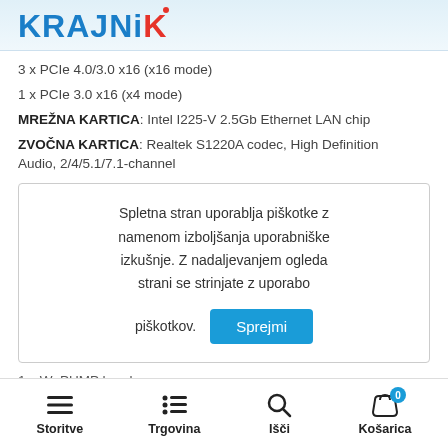KRAJNIK
3 x PCIe 4.0/3.0 x16 (x16 mode)
1 x PCIe 3.0 x16 (x4 mode)
MREŽNA KARTICA: Intel I225-V 2.5Gb Ethernet LAN chip
ZVOČNA KARTICA: Realtek S1220A codec, High Definition Audio, 2/4/5.1/7.1-channel
Spletna stran uporablja piškotke z namenom izboljšanja uporabniške izkušnje. Z nadaljevanjem ogleda strani se strinjate z uporabo piškotkov. Sprejmi
1 x W_PUMP header
Storitve | Trgovina | Išči | Košarica 0